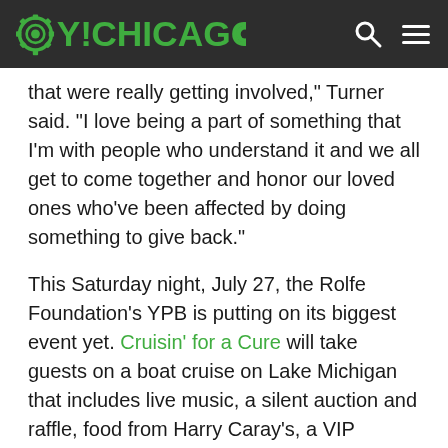OY!CHICAGO
that were really getting involved," Turner said. "I love being a part of something that I'm with people who understand it and we all get to come together and honor our loved ones who've been affected by doing something to give back."
This Saturday night, July 27, the Rolfe Foundation's YPB is putting on its biggest event yet. Cruisin' for a Cure will take guests on a boat cruise on Lake Michigan that includes live music, a silent auction and raffle, food from Harry Caray's, a VIP cocktail reception and after party, a guest speaker from Johns Hopkins University and, of course, a view of the fireworks over Navy Pier.